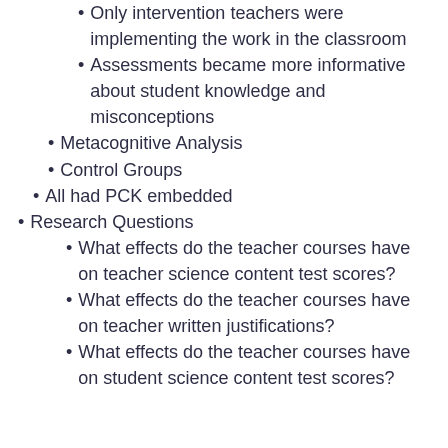Only intervention teachers were implementing the work in the classroom
Assessments became more informative about student knowledge and misconceptions
Metacognitive Analysis
Control Groups
All had PCK embedded
Research Questions
What effects do the teacher courses have on teacher science content test scores?
What effects do the teacher courses have on teacher written justifications?
What effects do the teacher courses have on student science content test scores?